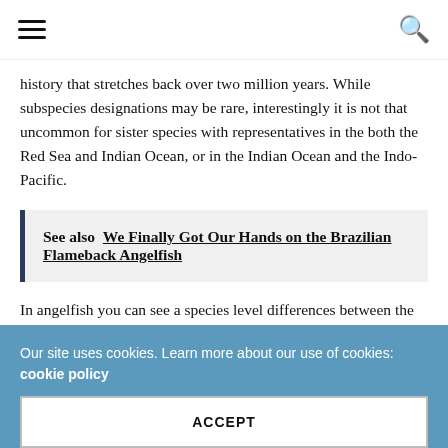≡  🔍
history that stretches back over two million years. While subspecies designations may be rare, interestingly it is not that uncommon for sister species with representatives in the both the Red Sea and Indian Ocean, or in the Indian Ocean and the Indo-Pacific.
See also  We Finally Got Our Hands on the Brazilian Flameback Angelfish
In angelfish you can see a species level differences between the cream and yellow ear angelfish, with
Our site uses cookies. Learn more about our use of cookies: cookie policy
ACCEPT